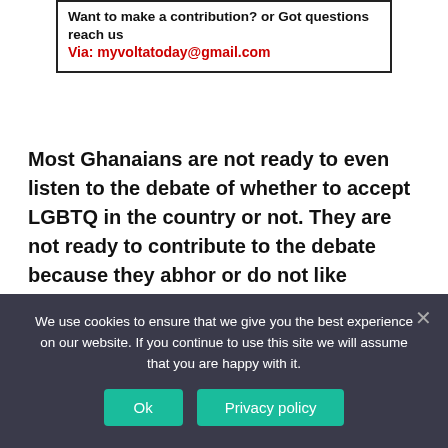[Figure (other): A boxed notice with text: 'Want to make a contribution? or Got questions reach us Via: myvoltatoday@gmail.com' — first line in bold black, second line in bold red.]
Most Ghanaians are not ready to even listen to the debate of whether to accept LGBTQ in the country or not. They are not ready to contribute to the debate because they abhor or do not like LGBTQ being accepted in the country.
According to a survey...
We use cookies to ensure that we give you the best experience on our website. If you continue to use this site we will assume that you are happy with it.